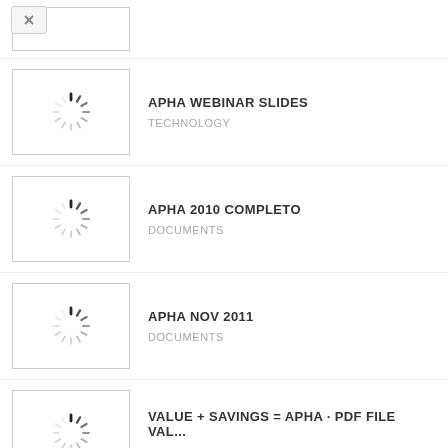APHA WEBINAR SLIDES — TECHNOLOGY
APHA 2010 COMPLETO — DOCUMENTS
APHA NOV 2011 — DOCUMENTS
VALUE + SAVINGS = APHA · PDF FILE VAL... — DOCUMENTS
GETTING THE MOST OUT OF APHA 2016 ...